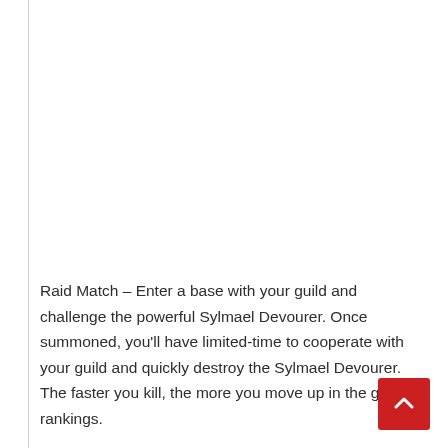Raid Match – Enter a base with your guild and challenge the powerful Sylmael Devourer. Once summoned, you'll have limited-time to cooperate with your guild and quickly destroy the Sylmael Devourer. The faster you kill, the more you move up in the guild rankings.